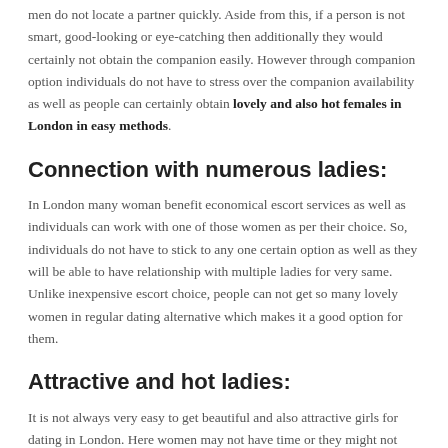men do not locate a partner quickly. Aside from this, if a person is not smart, good-looking or eye-catching then additionally they would certainly not obtain the companion easily. However through companion option individuals do not have to stress over the companion availability as well as people can certainly obtain lovely and also hot females in London in easy methods.
Connection with numerous ladies:
In London many woman benefit economical escort services as well as individuals can work with one of those women as per their choice. So, individuals do not have to stick to any one certain option as well as they will be able to have relationship with multiple ladies for very same. Unlike inexpensive escort choice, people can not get so many lovely women in regular dating alternative which makes it a good option for them.
Attractive and hot ladies:
It is not always very easy to get beautiful and also attractive girls for dating in London. Here women may not have time or they might not want to work with people. However, if you will certainly contact low-